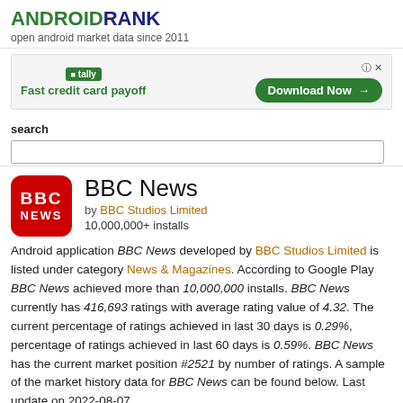ANDROIDRANK
open android market data since 2011
[Figure (infographic): Advertisement banner for Tally app: Fast credit card payoff with Download Now button]
search
BBC News
by BBC Studios Limited
10,000,000+ installs
Android application BBC News developed by BBC Studios Limited is listed under category News & Magazines. According to Google Play BBC News achieved more than 10,000,000 installs. BBC News currently has 416,693 ratings with average rating value of 4.32. The current percentage of ratings achieved in last 30 days is 0.29%, percentage of ratings achieved in last 60 days is 0.59%. BBC News has the current market position #2521 by number of ratings. A sample of the market history data for BBC News can be found below. Last update on 2022-08-07.